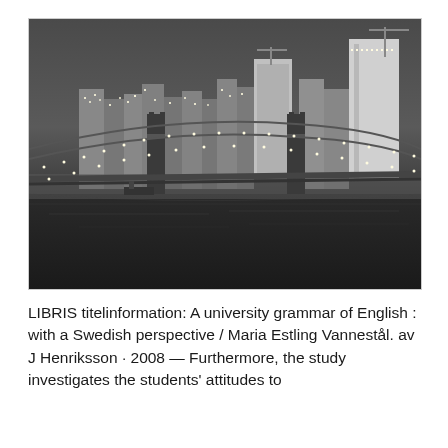[Figure (photo): Black and white photograph of the Brooklyn Bridge at night with the New York City skyline illuminated in the background, reflected in the water below.]
LIBRIS titelinformation: A university grammar of English : with a Swedish perspective / Maria Estling Vannestål. av J Henriksson · 2008 — Furthermore, the study investigates the students' attitudes to